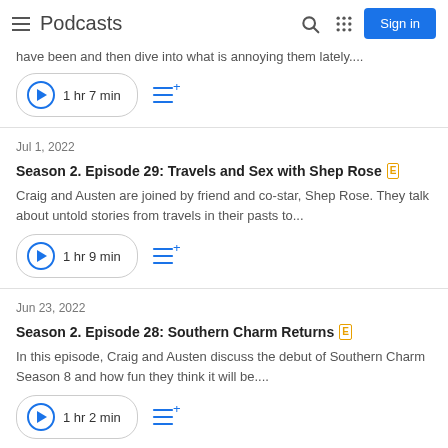Podcasts | Sign in
have been and then dive into what is annoying them lately....
1 hr 7 min
Jul 1, 2022
Season 2. Episode 29: Travels and Sex with Shep Rose [E]
Craig and Austen are joined by friend and co-star, Shep Rose. They talk about untold stories from travels in their pasts to...
1 hr 9 min
Jun 23, 2022
Season 2. Episode 28: Southern Charm Returns [E]
In this episode, Craig and Austen discuss the debut of Southern Charm Season 8 and how fun they think it will be....
1 hr 2 min